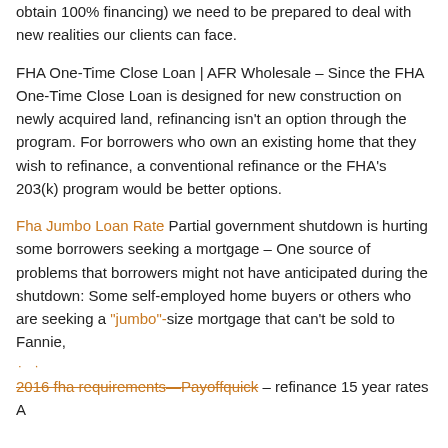obtain 100% financing) we need to be prepared to deal with new realities our clients can face.
FHA One-Time Close Loan | AFR Wholesale – Since the FHA One-Time Close Loan is designed for new construction on newly acquired land, refinancing isn't an option through the program. For borrowers who own an existing home that they wish to refinance, a conventional refinance or the FHA's 203(k) program would be better options.
Fha Jumbo Loan Rate Partial government shutdown is hurting some borrowers seeking a mortgage – One source of problems that borrowers might not have anticipated during the shutdown: Some self-employed home buyers or others who are seeking a "jumbo"-size mortgage that can't be sold to Fannie,
2016 fha requirements—Payoffquick – refinance 15 year rates A